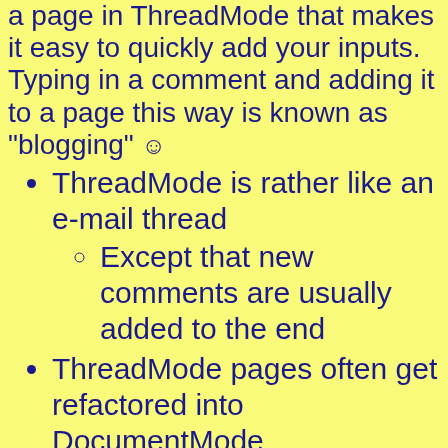a page in ThreadMode that makes it easy to quickly add your inputs. Typing in a comment and adding it to a page this way is known as "blogging" ☺
ThreadMode is rather like an e-mail thread
Except that new comments are usually added to the end
ThreadMode pages often get refactored into DocumentMode